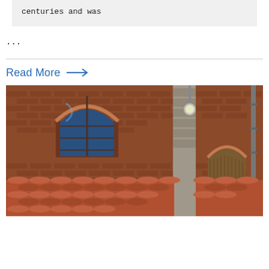centuries and was
...
Read More →
[Figure (photo): Exterior of an old brick building with an arched window showing blue sky reflection, a stone pillar, a wooden arched doorway, a metal lamp, a drainpipe, and terracotta roof tiles in the foreground.]